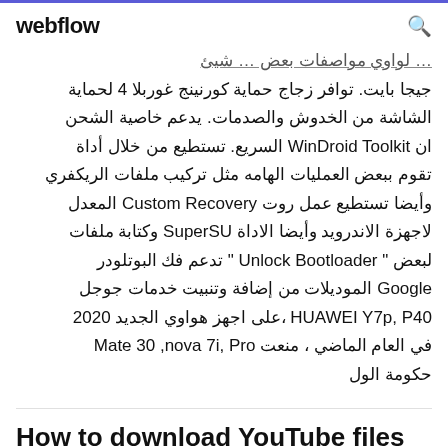webflow
جيجا بايت. توافر زجاج حماية كورنينج غوربلا 4 لحماية الشاشة من الخدوش والصدمات. يدعم خاصية الشحن ان WinDroid Toolkit السريع. تستطيع من خلال أداة تقوم ببعض العمليات الهامه مثل تركيب ملفات الريكفري وأيضأ تستطيع عمل روت Custom Recovery المعدل لاجهزة الاندرويد وأيضأ الاداة SuperSU وكتابة ملفات لبعض " Unlock Bootloader " تدعم فك البوتلودر Google الموديلات من إضافة وتنبيت خدمات جوجل HUAWEI Y7p, P40 ،على اجهز هواوي الجديد 2020 في العام الماضي ، منعت Mate 30 ,7i nova ,Pro حكومة الول
How to download YouTube files by using HUAWEI Nexus 6P North